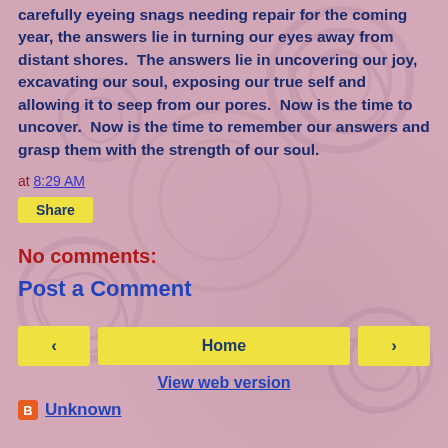carefully eyeing snags needing repair for the coming year, the answers lie in turning our eyes away from distant shores.  The answers lie in uncovering our joy, excavating our soul, exposing our true self and allowing it to seep from our pores.  Now is the time to uncover.  Now is the time to remember our answers and grasp them with the strength of our soul.
at 8:29 AM
Share
No comments:
Post a Comment
‹ Home › View web version
Unknown